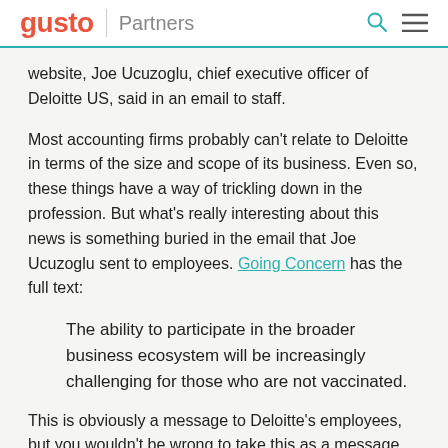gusto | Partners
website, Joe Ucuzoglu, chief executive officer of Deloitte US, said in an email to staff.
Most accounting firms probably can't relate to Deloitte in terms of the size and scope of its business. Even so, these things have a way of trickling down in the profession. But what's really interesting about this news is something buried in the email that Joe Ucuzoglu sent to employees. Going Concern has the full text:
The ability to participate in the broader business ecosystem will be increasingly challenging for those who are not vaccinated.
This is obviously a message to Deloitte's employees, but you wouldn't be wrong to take this as a message to Deloitte's clients. The about page states...